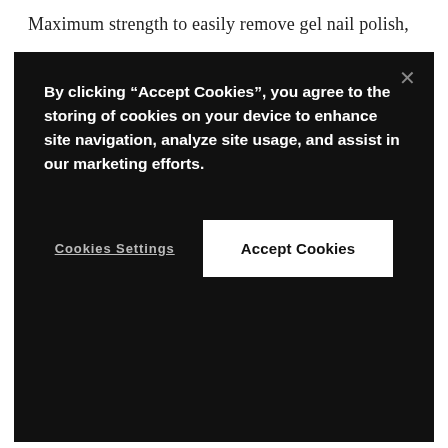Maximum strength to easily remove gel nail polish,
By clicking “Accept Cookies”, you agree to the storing of cookies on your device to enhance site navigation, analyze site usage, and assist in our marketing efforts.
Cookies Settings
Accept Cookies
Ingredients
Shipping & Coupon Restrictions
Free gift with purchase